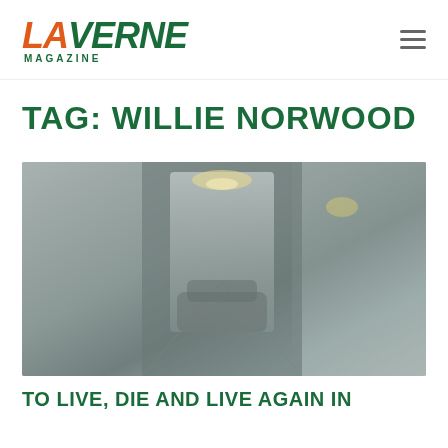LA VERNE MAGAZINE
TAG: WILLIE NORWOOD
[Figure (photo): Dark interior hallway/corridor scene with dim overhead lighting, showing an architectural passageway with warm accent lighting.]
TO LIVE, DIE AND LIVE AGAIN IN